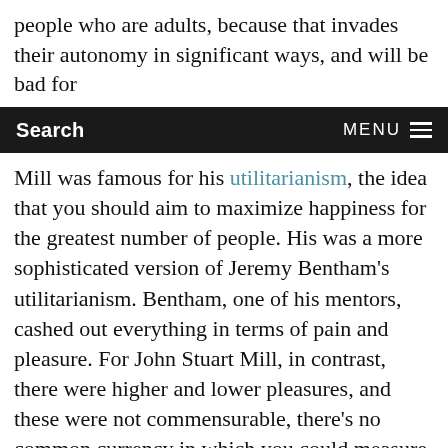people who are adults, because that invades their autonomy in significant ways, and will be bad for
Search   MENU
Mill was famous for his utilitarianism, the idea that you should aim to maximize happiness for the greatest number of people. His was a more sophisticated version of Jeremy Bentham's utilitarianism. Bentham, one of his mentors, cashed out everything in terms of pain and pleasure. For John Stuart Mill, in contrast, there were higher and lower pleasures, and these were not commensurable, there's no common currency in which you could measure them both. He thought of human beings as progressive in the sense that we could become more fulfilled in all kinds of ways. And he wanted a society which gave us space to grow and to do that. He felt—and this is part of his empiricism and he's very much in the empiricist